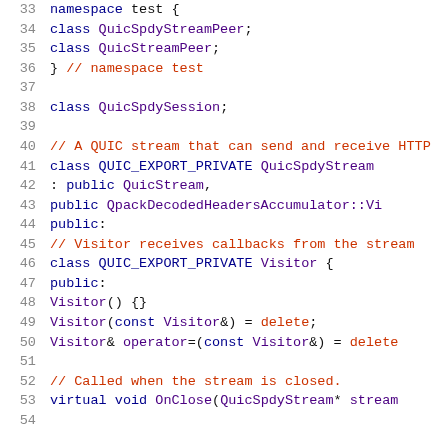Code listing lines 33–54, C++ header file showing QuicSpdyStream class definition with namespace test forward declarations and Visitor inner class
[Figure (screenshot): C++ source code screenshot showing lines 33-54 of a QUIC/SPDY stream header file with syntax highlighting: line numbers in gray, keywords in dark blue, comments in red-orange, identifiers in dark purple]